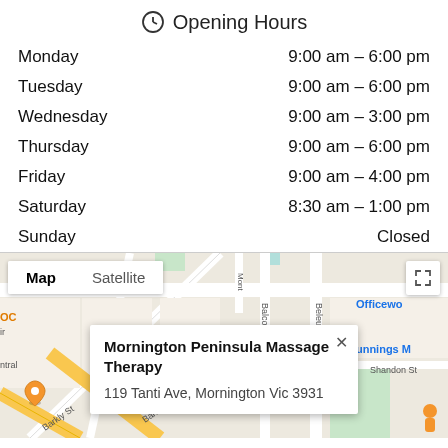Opening Hours
| Day | Hours |
| --- | --- |
| Monday | 9:00 am – 6:00 pm |
| Tuesday | 9:00 am – 6:00 pm |
| Wednesday | 9:00 am – 3:00 pm |
| Thursday | 9:00 am – 6:00 pm |
| Friday | 9:00 am – 4:00 pm |
| Saturday | 8:30 am – 1:00 pm |
| Sunday | Closed |
[Figure (map): Google Map showing Mornington Peninsula Massage Therapy at 119 Tanti Ave, Mornington Vic 3931, with Map/Satellite toggle and info popup]